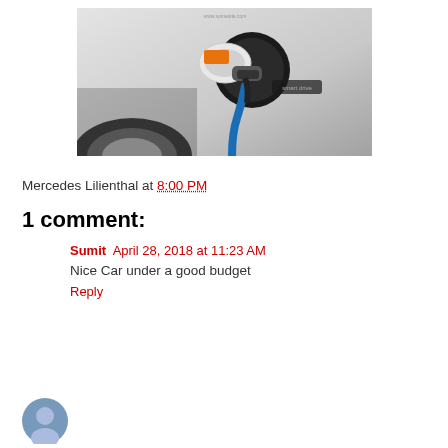[Figure (photo): Photo of an electric vehicle charging port with a charging plug inserted, blue cable visible, white car body, taken from side angle]
Mercedes Lilienthal at 8:00 PM
1 comment:
Sumit  April 28, 2018 at 11:23 AM
Nice Car under a good budget
Reply
[Figure (photo): Partial avatar/profile image at the bottom left, circular blue icon]